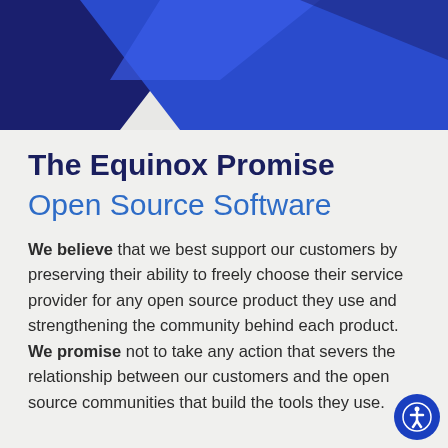[Figure (illustration): Blue decorative header graphic with dark navy and bright blue diagonal shapes on a light background]
The Equinox Promise
Open Source Software
We believe that we best support our customers by preserving their ability to freely choose their service provider for any open source product they use and strengthening the community behind each product. We promise not to take any action that severs the relationship between our customers and the open source communities that build the tools they use.